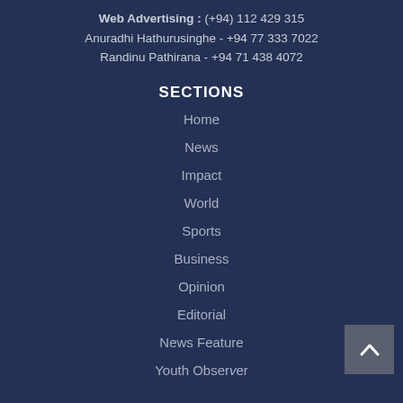Web Advertising : (+94) 112 429 315
Anuradhi Hathurusinghe - +94 77 333 7022
Randinu Pathirana - +94 71 438 4072
SECTIONS
Home
News
Impact
World
Sports
Business
Opinion
Editorial
News Feature
Youth Observer